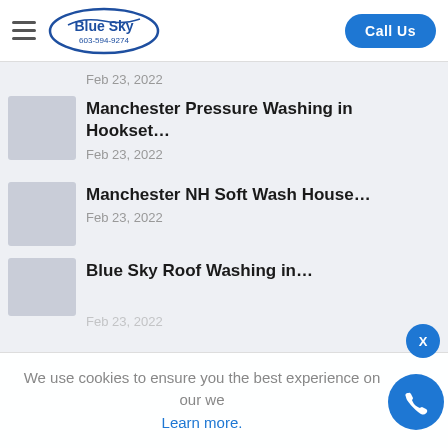Blue Sky 603-594-9274 | Call Us
Feb 23, 2022
Manchester Pressure Washing in Hookset…
Feb 23, 2022
Manchester NH Soft Wash House…
Feb 23, 2022
Blue Sky Roof Washing in…
Feb 23, 2022
We use cookies to ensure you the best experience on our we
Learn more.